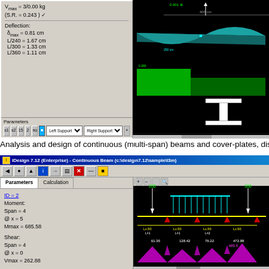[Figure (screenshot): Engineering software screenshot showing iDesign beam analysis. Left panel shows Vmax, S.R., Deflection parameters. Right panel shows black background with cyan and green shear/moment diagrams and I-beam cross section graphic.]
Analysis and design of continuous (multi-span) beams and cover-plates, distributio
[Figure (screenshot): iDesign 7.12 (Enterprise) - Continuous Beam (c:\design7.12\sample\l3m) window. Left panel shows Parameters/Calculation tabs with ID=2, Moment Span=4 @x=5 Mmax=685.58, Shear Span=4 @x=0 Vmax=262.88. Right panel shows black background with beam loading diagram and pink/magenta moment diagram.]